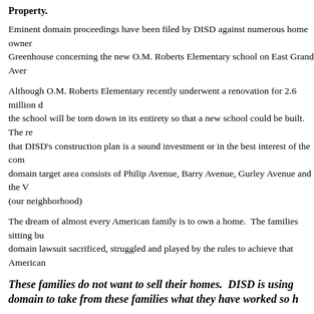Property.
Eminent domain proceedings have been filed by DISD against numerous home owners in Greenhouse concerning the new O.M. Roberts Elementary school on East Grand Avenue.
Although O.M. Roberts Elementary recently underwent a renovation for 2.6 million dollars, the school will be torn down in its entirety so that a new school could be built. The residents question that DISD's construction plan is a sound investment or in the best interest of the community. The eminent domain target area consists of Philip Avenue, Barry Avenue, Gurley Avenue and the Victorian neighborhood (our neighborhood)
The dream of almost every American family is to own a home. The families sitting before the eminent domain lawsuit sacrificed, struggled and played by the rules to achieve that American dream.
These families do not want to sell their homes. DISD is using eminent domain to take from these families what they have worked so hard for.
The only thing DISD has shown to its taxpayers so far is that it has no compassion for residents or the future of our children.
But what DISD did not prepare itself for is our response to its shoddy plan, and we say every day until we win that we are a strong and proud community, consisting of residents who survived the depression, multiple recessions, and various forms of racism. We have residents who have marched to Washington, D.C. to fight for their beliefs and to hold onto their rights and others who...